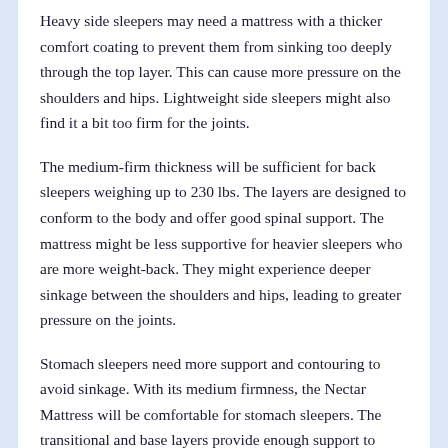Heavy side sleepers may need a mattress with a thicker comfort coating to prevent them from sinking too deeply through the top layer. This can cause more pressure on the shoulders and hips. Lightweight side sleepers might also find it a bit too firm for the joints.
The medium-firm thickness will be sufficient for back sleepers weighing up to 230 lbs. The layers are designed to conform to the body and offer good spinal support. The mattress might be less supportive for heavier sleepers who are more weight-back. They might experience deeper sinkage between the shoulders and hips, leading to greater pressure on the joints.
Stomach sleepers need more support and contouring to avoid sinkage. With its medium firmness, the Nectar Mattress will be comfortable for stomach sleepers. The transitional and base layers provide enough support to prevent sinking around the chest and stomach. Stomach sleepers will experience sinkage just